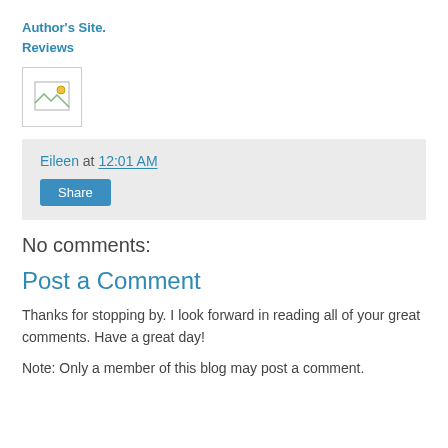Author's Site.
Reviews
[Figure (other): Broken/placeholder image icon in a bordered box]
Eileen at 12:01 AM
Share
No comments:
Post a Comment
Thanks for stopping by. I look forward in reading all of your great comments. Have a great day!
Note: Only a member of this blog may post a comment.